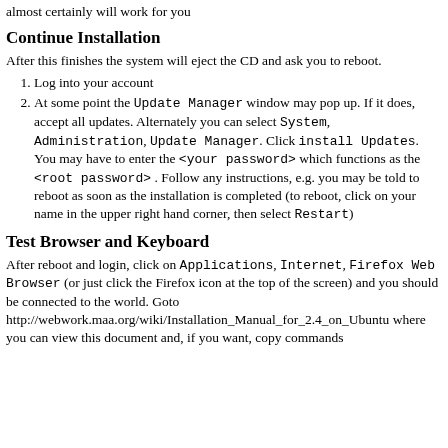almost certainly will work for you
Continue Installation
After this finishes the system will eject the CD and ask you to reboot.
1. Log into your account
2. At some point the Update Manager window may pop up. If it does, accept all updates. Alternately you can select System, Administration, Update Manager. Click install Updates. You may have to enter the <your password> which functions as the <root password> . Follow any instructions, e.g. you may be told to reboot as soon as the installation is completed (to reboot, click on your name in the upper right hand corner, then select Restart)
Test Browser and Keyboard
After reboot and login, click on Applications, Internet, Firefox Web Browser (or just click the Firefox icon at the top of the screen) and you should be connected to the world. Goto http://webwork.maa.org/wiki/Installation_Manual_for_2.4_on_Ubuntu where you can view this document and, if you want, copy commands to terminal (see below).